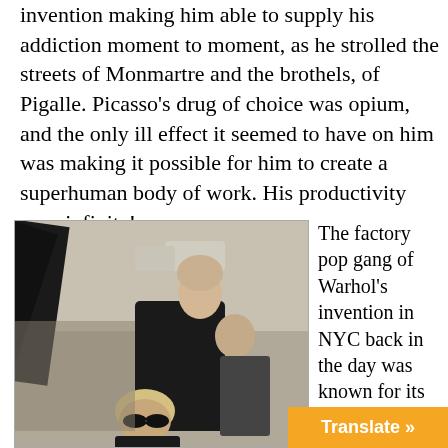invention making him able to supply his addiction moment to moment, as he strolled the streets of Monmartre and the brothels, of Pigalle. Picasso's drug of choice was opium, and the only ill effect it seemed to have on him was making it possible for him to create a superhuman body of work. His productivity was  infinite!
[Figure (photo): Black and white photograph showing Andy Warhol with sunglasses and several people around him on a New York City street, with a woman in black prominently in the foreground.]
The factory pop gang of Warhol's invention in NYC back in the day was known for its cocaine useage,with LSD and pot the common standby. The artists of the 70's and 80's thrived on h...
Translate »